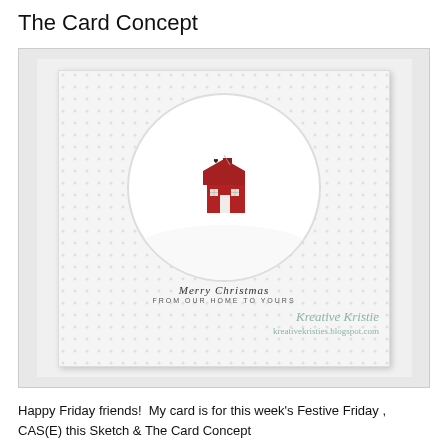The Card Concept
[Figure (photo): A handmade Christmas card featuring a white embossed background with a circular/oval cutout. Inside the cutout is a small red house die-cut with a heart on the chimney, sitting on a snow mound. Below the house is the sentiment 'Merry Christmas From Our Home To Yours' in script and small caps lettering. A watermark reads 'Kreative Kristie / kreativekristies.blogspot.com'.]
Happy Friday friends!  My card is for this week's Festive Friday , CAS(E) this Sketch & The Card Concept